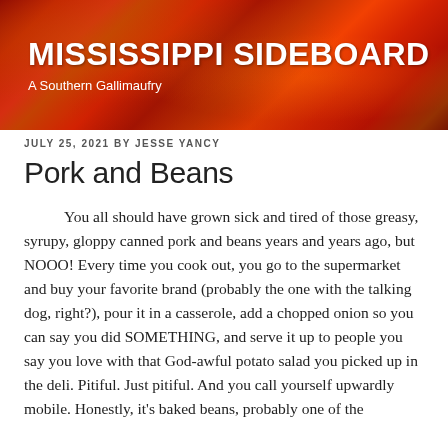[Figure (photo): Red and orange chili peppers background image for the Mississippi Sideboard blog header]
MISSISSIPPI SIDEBOARD
A Southern Gallimaufry
JULY 25, 2021 BY JESSE YANCY
Pork and Beans
You all should have grown sick and tired of those greasy, syrupy, gloppy canned pork and beans years and years ago, but NOOO! Every time you cook out, you go to the supermarket and buy your favorite brand (probably the one with the talking dog, right?), pour it in a casserole, add a chopped onion so you can say you did SOMETHING, and serve it up to people you say you love with that God-awful potato salad you picked up in the deli. Pitiful. Just pitiful. And you call yourself upwardly mobile. Honestly, it's baked beans, probably one of the